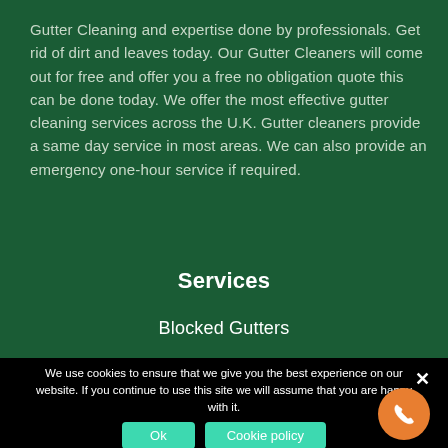Gutter Cleaning and expertise done by professionals. Get rid of dirt and leaves today. Our Gutter Cleaners will come out for free and offer you a free no obligation quote this can be done today. We offer the most effective gutter cleaning services across the U.K. Gutter cleaners provide a same day service in most areas. We can also provide an emergency one-hour service if required.
Services
Blocked Gutters
We use cookies to ensure that we give you the best experience on our website. If you continue to use this site we will assume that you are happy with it.